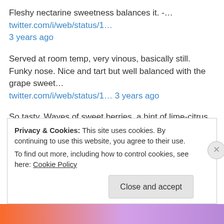Fleshy nectarine sweetness balances it. -… twitter.com/i/web/status/1… 3 years ago
Served at room temp, very vinous, basically still. Funky nose. Nice and tart but well balanced with the grape sweet… twitter.com/i/web/status/1… 3 years ago
So tasty. Waves of sweet berries, a hint of lime-citrus tartness and acidity. Beautiful dark ruby color. Maybe Alla… twitter.com/i/web/status/1… 3 years ago
Fenway is quite tonight. - Drinking a Sam '76 by @SamuelAdamsBeer at @redsox — untp.beer/s/c740750593 3 years ago
Privacy & Cookies: This site uses cookies. By continuing to use this website, you agree to their use. To find out more, including how to control cookies, see here: Cookie Policy